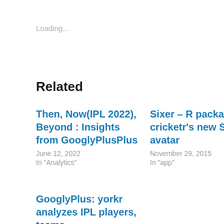Loading...
Related
Then, Now(IPL 2022), Beyond : Insights from GooglyPlusPlus
June 12, 2022
In "Analytics"
Sixer – R package cricketr's new Shiny avatar
November 29, 2015
In "app"
GooglyPlus: yorkr analyzes IPL players, teams,